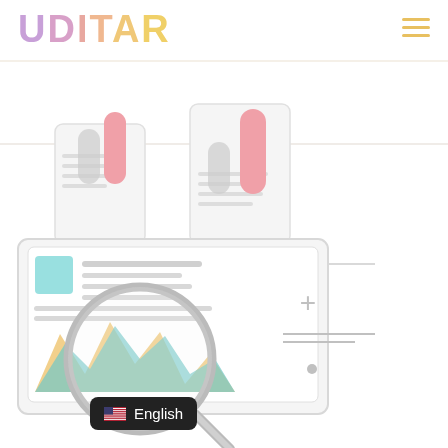OUITAR
[Figure (illustration): A colorful flat illustration showing bar charts, documents, a laptop screen with charts and a magnifying glass analyzing data. Bar charts with rounded tops in pink and gray colors on document backgrounds. Below, a laptop showing mountain/area charts in teal and orange with a large magnifying glass overlay. UI elements including a '+' symbol, horizontal lines, and a dot are shown to the right of the illustration.]
English